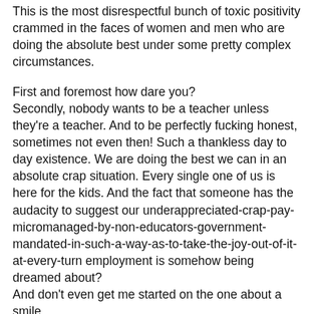This is the most disrespectful bunch of toxic positivity crammed in the faces of women and men who are doing the absolute best under some pretty complex circumstances.
First and foremost how dare you?
Secondly, nobody wants to be a teacher unless they're a teacher. And to be perfectly fucking honest, sometimes not even then! Such a thankless day to day existence. We are doing the best we can in an absolute crap situation. Every single one of us is here for the kids. And the fact that someone has the audacity to suggest our underappreciated-crap-pay-micromanaged-by-non-educators-government-mandated-in-such-a-way-as-to-take-the-joy-out-of-it-at-every-turn employment is somehow being dreamed about?
And don't even get me started on the one about a smile